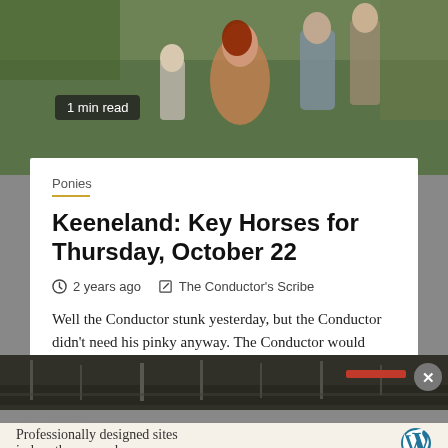[Figure (photo): Photo of people at what appears to be a horse racing venue, viewed from behind, with green surroundings]
1 min read
Ponies
Keeneland: Key Horses for Thursday, October 22
2 years ago   The Conductor's Scribe
Well the Conductor stunk yesterday, but the Conductor didn't need his pinky anyway. The Conductor would gladly lose a finger...
[Figure (photo): Harbor or waterfront scene in grayscale/muted tones]
Advertisements
Professionally designed sites in less than a week